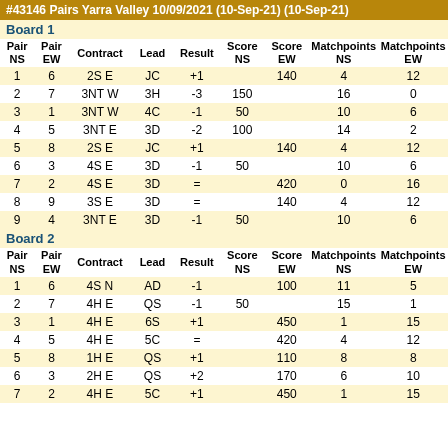#43146 Pairs Yarra Valley 10/09/2021 (10-Sep-21) (10-Sep-21)
Board 1
| Pair NS | Pair EW | Contract | Lead | Result | Score NS | Score EW | Matchpoints NS | Matchpoints EW |
| --- | --- | --- | --- | --- | --- | --- | --- | --- |
| 1 | 6 | 2S E | JC | +1 |  | 140 | 4 | 12 |
| 2 | 7 | 3NT W | 3H | -3 | 150 |  | 16 | 0 |
| 3 | 1 | 3NT W | 4C | -1 | 50 |  | 10 | 6 |
| 4 | 5 | 3NT E | 3D | -2 | 100 |  | 14 | 2 |
| 5 | 8 | 2S E | JC | +1 |  | 140 | 4 | 12 |
| 6 | 3 | 4S E | 3D | -1 | 50 |  | 10 | 6 |
| 7 | 2 | 4S E | 3D | = |  | 420 | 0 | 16 |
| 8 | 9 | 3S E | 3D | = |  | 140 | 4 | 12 |
| 9 | 4 | 3NT E | 3D | -1 | 50 |  | 10 | 6 |
Board 2
| Pair NS | Pair EW | Contract | Lead | Result | Score NS | Score EW | Matchpoints NS | Matchpoints EW |
| --- | --- | --- | --- | --- | --- | --- | --- | --- |
| 1 | 6 | 4S N | AD | -1 |  | 100 | 11 | 5 |
| 2 | 7 | 4H E | QS | -1 | 50 |  | 15 | 1 |
| 3 | 1 | 4H E | 6S | +1 |  | 450 | 1 | 15 |
| 4 | 5 | 4H E | 5C | = |  | 420 | 4 | 12 |
| 5 | 8 | 1H E | QS | +1 |  | 110 | 8 | 8 |
| 6 | 3 | 2H E | QS | +2 |  | 170 | 6 | 10 |
| 7 | 2 | 4H E | 5C | +1 |  | 450 | 1 | 15 |